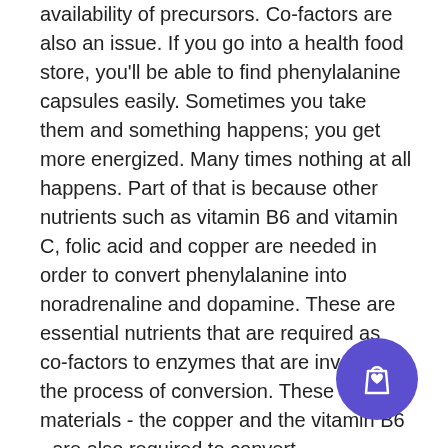availability of precursors. Co-factors are also an issue. If you go into a health food store, you'll be able to find phenylalanine capsules easily. Sometimes you take them and something happens; you get more energized. Many times nothing at all happens. Part of that is because other nutrients such as vitamin B6 and vitamin C, folic acid and copper are needed in order to convert phenylalanine into noradrenaline and dopamine. These are essential nutrients that are required as co-factors to enzymes that are involved in the process of conversion. These materials - the copper and the vitamin B6 - are also required to convert phenylalanine into beta phenylethylamine, which is a neuromodulator in your brain that modulates the effects of noradrenaline and dopamine and probably some other neurotransmitters as w
[Figure (other): Purple circular shopping bag icon button in the bottom-right corner]